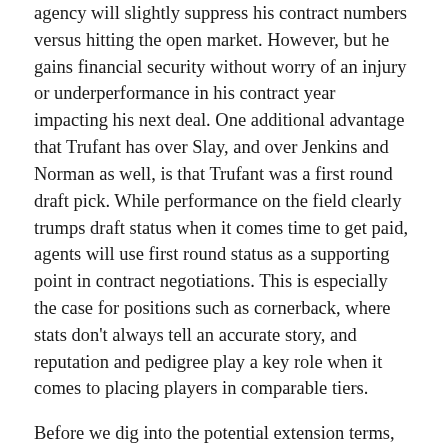agency will slightly suppress his contract numbers versus hitting the open market. However, but he gains financial security without worry of an injury or underperformance in his contract year impacting his next deal. One additional advantage that Trufant has over Slay, and over Jenkins and Norman as well, is that Trufant was a first round draft pick. While performance on the field clearly trumps draft status when it comes time to get paid, agents will use first round status as a supporting point in contract negotiations. This is especially the case for positions such as cornerback, where stats don't always tell an accurate story, and reputation and pedigree play a key role when it comes to placing players in comparable tiers.
Before we dig into the potential extension terms, remember the important baseline referenced above – the aggregate running cash amount for 2017 and 2018 in any proposed contract must exceed the first round tender for 2017 plus the value of the franchise tag for 2018 in order for an extension to make sense for Trufant. Otherwise, a player of